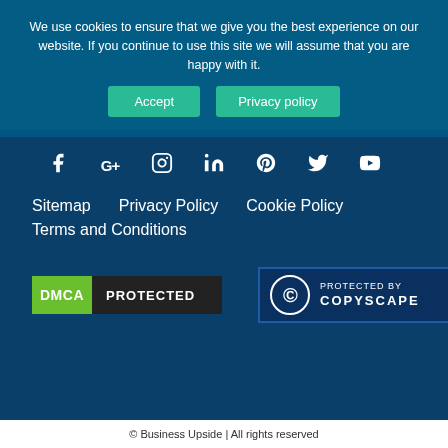We use cookies to ensure that we give you the best experience on our website. If you continue to use this site we will assume that you are happy with it.
Accept   Privacy policy
[Figure (infographic): Social media icons row: Facebook, Google+, Instagram, LinkedIn, Pinterest, Twitter, YouTube]
Sitemap
Privacy Policy
Cookie Policy
Terms and Conditions
[Figure (logo): DMCA Protected badge - green DMCA label with black background PROTECTED text]
[Figure (logo): Protected by Copyscape badge - dark blue badge with copyright circle symbol and COPYSCAPE text]
© Business Upside | All rights reserved